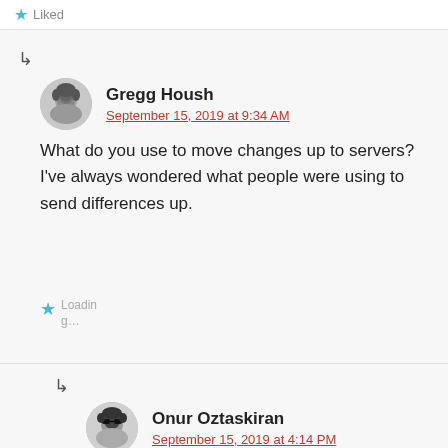Liked
↳
Gregg Housh
September 15, 2019 at 9:34 AM
What do you use to move changes up to servers? I've always wondered what people were using to send differences up.
Loading...
↳
Onur Oztaskiran
September 15, 2019 at 4:14 PM